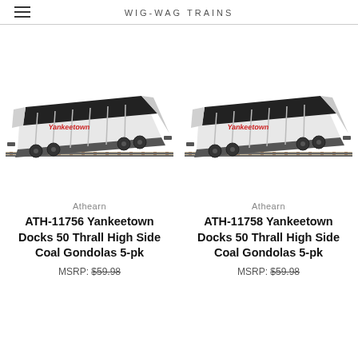WIG-WAG TRAINS
[Figure (photo): Model train car - Athearn ATH-11756 Yankeetown Docks 50 Thrall High Side Coal Gondola, white with red lettering, loaded with coal]
Athearn
ATH-11756 Yankeetown Docks 50 Thrall High Side Coal Gondolas 5-pk
MSRP: $59.98
[Figure (photo): Model train car - Athearn ATH-11758 Yankeetown Docks 50 Thrall High Side Coal Gondola, white with red lettering, loaded with coal]
Athearn
ATH-11758 Yankeetown Docks 50 Thrall High Side Coal Gondolas 5-pk
MSRP: $59.98